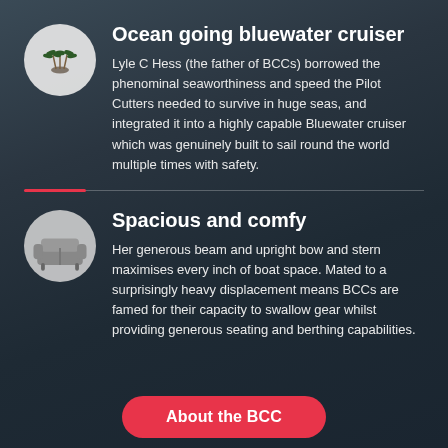[Figure (illustration): Circular icon with palm trees on an island, grey background]
Ocean going bluewater cruiser
Lyle C Hess (the father of BCCs) borrowed the phenominal seaworthiness and speed the Pilot Cutters needed to survive in huge seas, and integrated it into a highly capable Bluewater cruiser which was genuinely built to sail round the world multiple times with safety.
[Figure (illustration): Circular icon with a sofa/couch, grey background]
Spacious and comfy
Her generous beam and upright bow and stern maximises every inch of boat space. Mated to a surprisingly heavy displacement means BCCs are famed for their capacity to swallow gear whilst providing generous seating and berthing capabilities.
About the BCC